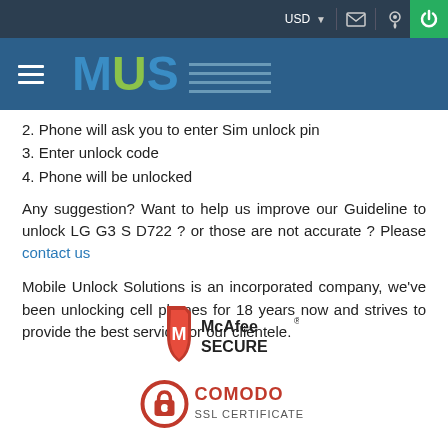USD  [mail icon] [location icon] [power icon]
[Figure (logo): MUS Mobile Unlock Solutions logo on dark blue navigation bar with hamburger menu]
2. Phone will ask you to enter Sim unlock pin
3. Enter unlock code
4. Phone will be unlocked
Any suggestion? Want to help us improve our Guideline to unlock LG G3 S D722 ? or those are not accurate ? Please contact us
Mobile Unlock Solutions is an incorporated company, we've been unlocking cell phones for 18 years now and strives to provide the best service for our clientele.
[Figure (logo): McAfee SECURE badge - red shield with M, text McAfee SECURE]
[Figure (logo): Comodo SSL Certificate badge - red padlock icon with COMODO SSL CERTIFICATE text]